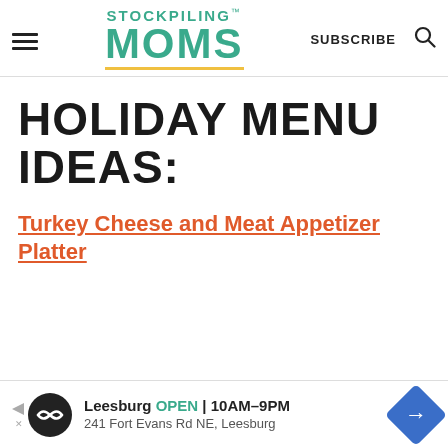STOCKPILING MOMS
HOLIDAY MENU IDEAS:
Turkey Cheese and Meat Appetizer Platter
Leesburg OPEN 10AM-9PM 241 Fort Evans Rd NE, Leesburg